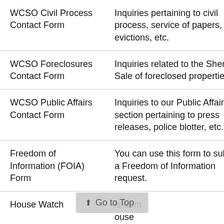| WCSO Civil Process Contact Form | Inquiries pertaining to civil process, service of papers, evictions, etc. |
| WCSO Foreclosures Contact Form | Inquiries related to the Sheriff's Sale of foreclosed properties. |
| WCSO Public Affairs Contact Form | Inquiries to our Public Affairs section pertaining to press releases, police blotter, etc. |
| Freedom of Information (FOIA) Form | You can use this form to submit a Freedom of Information request. |
| House Watch | …is form …ouse |